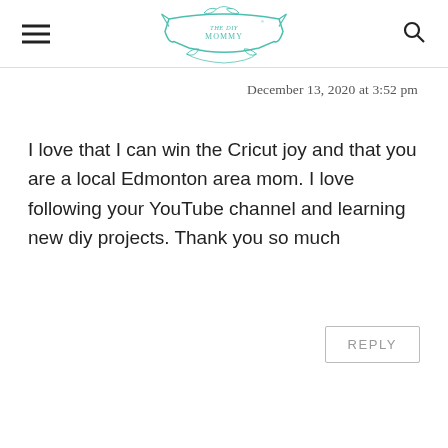THE DIY MOMMY
December 13, 2020 at 3:52 pm
I love that I can win the Cricut joy and that you are a local Edmonton area mom. I love following your YouTube channel and learning new diy projects. Thank you so much
REPLY